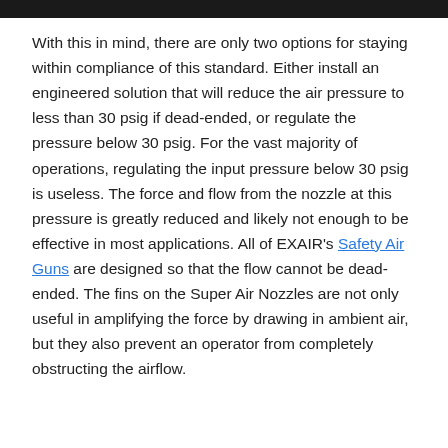With this in mind, there are only two options for staying within compliance of this standard. Either install an engineered solution that will reduce the air pressure to less than 30 psig if dead-ended, or regulate the pressure below 30 psig. For the vast majority of operations, regulating the input pressure below 30 psig is useless. The force and flow from the nozzle at this pressure is greatly reduced and likely not enough to be effective in most applications. All of EXAIR’s Safety Air Guns are designed so that the flow cannot be dead-ended. The fins on the Super Air Nozzles are not only useful in amplifying the force by drawing in ambient air, but they also prevent an operator from completely obstructing the airflow.